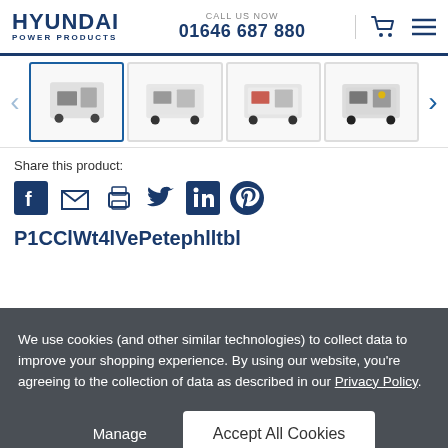HYUNDAI POWER PRODUCTS — CALL US NOW 01646 687 880
[Figure (screenshot): Product thumbnail carousel showing four generator images with left and right navigation arrows]
Share this product:
[Figure (infographic): Social share icons: Facebook, Email, Print, Twitter, LinkedIn, Pinterest]
P1CClWt4lVePetephlltbl...
We use cookies (and other similar technologies) to collect data to improve your shopping experience. By using our website, you're agreeing to the collection of data as described in our Privacy Policy.
Manage | Accept All Cookies